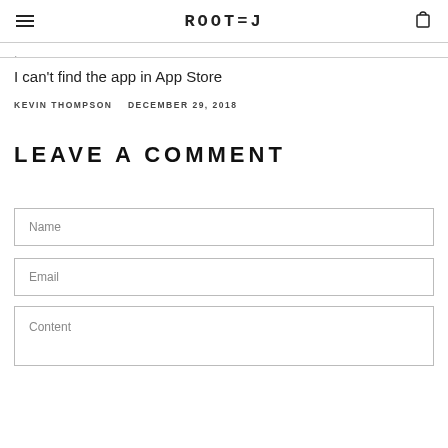ROOTED
.
I can't find the app in App Store
KEVIN THOMPSON    DECEMBER 29, 2018
LEAVE A COMMENT
Name
Email
Content